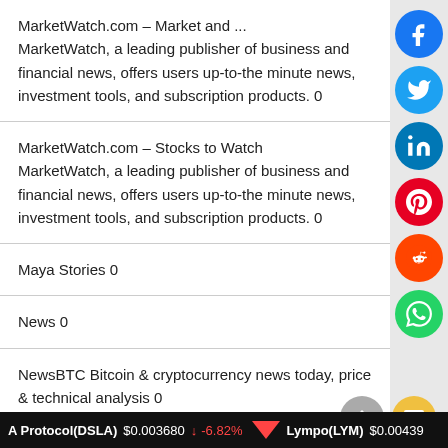MarketWatch.com – Market and ... MarketWatch, a leading publisher of business and financial news, offers users up-to-the minute news, investment tools, and subscription products. 0
MarketWatch.com – Stocks to Watch MarketWatch, a leading publisher of business and financial news, offers users up-to-the minute news, investment tools, and subscription products. 0
Maya Stories 0
News 0
NewsBTC Bitcoin & cryptocurrency news today, price & technical analysis 0
Peso Lab – Money Guide for Filipinos
A Protocol(DSLA) $0.003680 ↓ -6.82%  Lympo(LYM) $0.00439